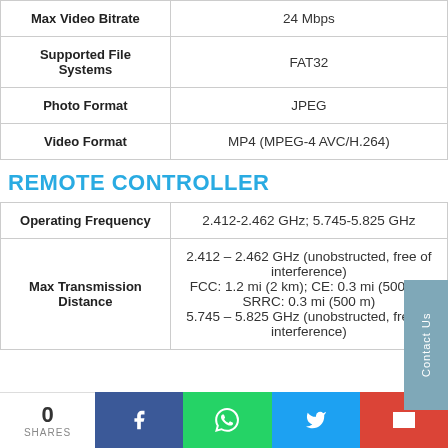| Feature | Value |
| --- | --- |
| Max Video Bitrate | 24 Mbps |
| Supported File Systems | FAT32 |
| Photo Format | JPEG |
| Video Format | MP4 (MPEG-4 AVC/H.264) |
REMOTE CONTROLLER
| Feature | Value |
| --- | --- |
| Operating Frequency | 2.412-2.462 GHz; 5.745-5.825 GHz |
| Max Transmission Distance | 2.412 – 2.462 GHz (unobstructed, free of interference)
FCC: 1.2 mi (2 km); CE: 0.3 mi (500 m); SRRC: 0.3 mi (500 m)
5.745 – 5.825 GHz (unobstructed, free of interference) |
0 SHARES | Facebook | WhatsApp | Twitter | Gmail